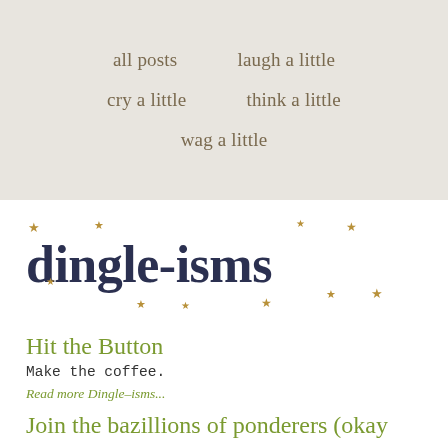all posts    laugh a little
cry a little    think a little
wag a little
dingle-isms
Hit the Button
Make the coffee.
Read more Dingle–isms...
Join the bazillions of ponderers (okay